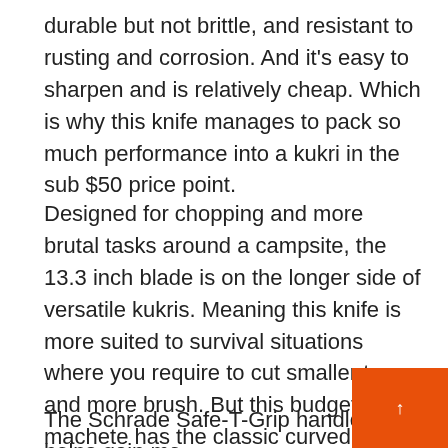durable but not brittle, and resistant to rusting and corrosion. And it's easy to sharpen and is relatively cheap. Which is why this knife manages to pack so much performance into a kukri in the sub $50 price point.
Designed for chopping and more brutal tasks around a campsite, the 13.3 inch blade is on the longer side of versatile kukris. Meaning this knife is more suited to survival situations where you require to cut smaller trees and more brush. But this budget kukri machete has the classic curved shape which allows for maximum chopping power and makes it much faster to wind up a swing.
The Schrade Safe-T-Grip handle helps gain mo